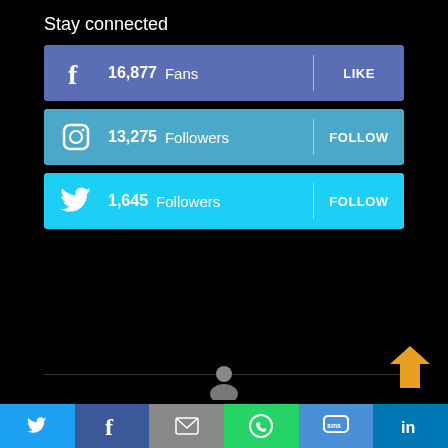Stay connected
16,877 Fans  LIKE
13,275 Followers  FOLLOW
1,645 Followers  FOLLOW
[Figure (screenshot): Bottom navigation bar with social sharing icons: Twitter, Facebook, Email, WhatsApp, SMS, LinkedIn]